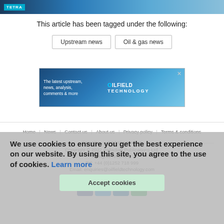[Figure (photo): Top banner image with TETRA logo on dark blue/ocean background]
This article has been tagged under the following:
Upstream news
Oil & gas news
[Figure (other): Oilfield Technology advertisement banner: 'The latest upstream, news, analysis, comments & more' with OILFIELD TECHNOLOGY logo and oil rig image]
Home | News | Contact us | About us | Privacy policy | Terms & conditions | Security | Website cookies
Copyright © 2022 Palladian Publications Ltd.
All rights reserved.
Tel: +44 (0)1252 718 999
Email: enquiries@oilfieldtechnology.com
[Figure (other): Social media icons: Facebook, Twitter, LinkedIn, Spotify]
We use cookies to ensure you get the best experience on our website. By using this site, you agree to the use of cookies. Learn more
Accept cookies